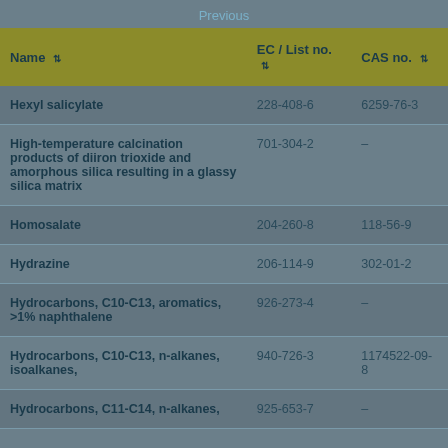Previous
| Name | EC / List no. | CAS no. |
| --- | --- | --- |
| Hexyl salicylate | 228-408-6 | 6259-76-3 |
| High-temperature calcination products of diiron trioxide and amorphous silica resulting in a glassy silica matrix | 701-304-2 | – |
| Homosalate | 204-260-8 | 118-56-9 |
| Hydrazine | 206-114-9 | 302-01-2 |
| Hydrocarbons, C10-C13, aromatics, >1% naphthalene | 926-273-4 | – |
| Hydrocarbons, C10-C13, n-alkanes, isoalkanes, | 940-726-3 | 1174522-09-8 |
| Hydrocarbons, C11-C14, n-alkanes, | 925-653-7 | – |